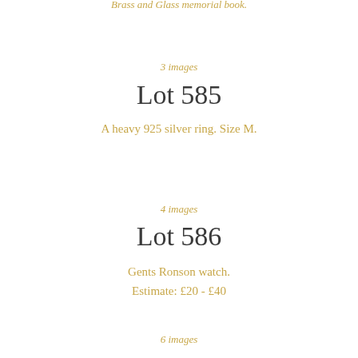3 images
Lot 585
A heavy 925 silver ring. Size M.
4 images
Lot 586
Gents Ronson watch.
Estimate: £20 - £40
6 images